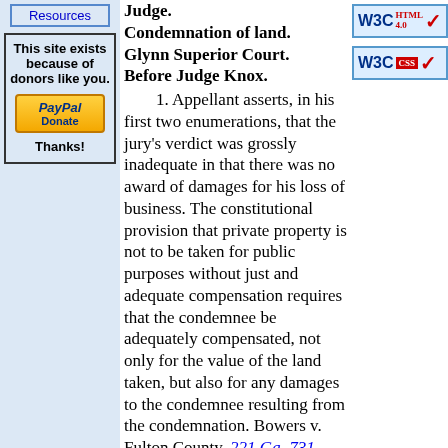[Figure (other): Resources navigation button (blue bordered box with 'Resources' text)]
[Figure (other): Donor box: 'This site exists because of donors like you.' with PayPal Donate button and 'Thanks!']
Judge. Condemnation of land. Glynn Superior Court. Before Judge Knox.
1. Appellant asserts, in his first two enumerations, that the jury's verdict was grossly inadequate in that there was no award of damages for his loss of business. The constitutional provision that private property is not to be taken for public purposes without just and adequate compensation requires that the condemnee be adequately compensated, not only for the value of the land taken, but also for any damages to the condemnee resulting from the condemnation. Bowers v. Fulton County, 221 Ga. 731 (146 SE2d 884); State Hwy. Dept. v. Thomas, 115 G...
[Figure (other): W3C HTML 4.0 validation badge (blue border, red checkmark)]
[Figure (other): W3C CSS validation badge (blue border, red CSS label, red checkmark)]